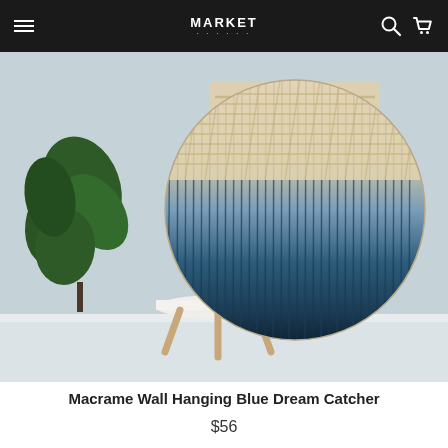MARKET
[Figure (photo): A circular macrame wall hanging with a blue ombre dip-dye effect (cream/beige at top fading to deep navy/teal at bottom), hung on a light blue-grey wall above a small white round side table with wooden legs. A dark green monstera plant is visible to the left.]
Macrame Wall Hanging Blue Dream Catcher
$56